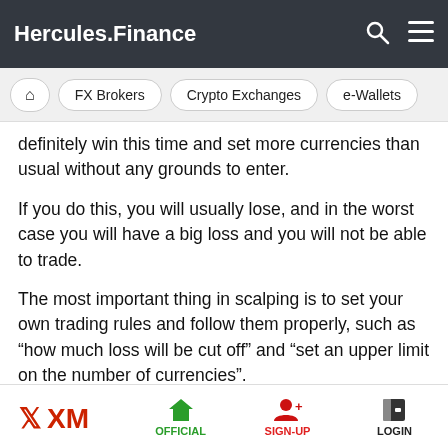Hercules.Finance
FX Brokers   Crypto Exchanges   e-Wallets
definitely win this time and set more currencies than usual without any grounds to enter.
If you do this, you will usually lose, and in the worst case you will have a big loss and you will not be able to trade.
The most important thing in scalping is to set your own trading rules and follow them properly, such as “how much loss will be cut off” and “set an upper limit on the number of currencies”.
“Money management” is indispensable for calculating the allowable range of loss and the upper limit of the number
XM  OFFICIAL  SIGN-UP  LOGIN